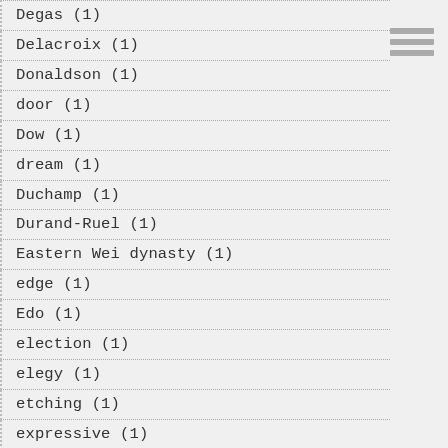Degas (1)
Delacroix (1)
Donaldson (1)
door (1)
Dow (1)
dream (1)
Duchamp (1)
Durand-Ruel (1)
Eastern Wei dynasty (1)
edge (1)
Edo (1)
election (1)
elegy (1)
etching (1)
expressive (1)
Fatin-Latour (1)
Ferreira Cabeza-Vanegas (1)
film (1)
flaneur (1)